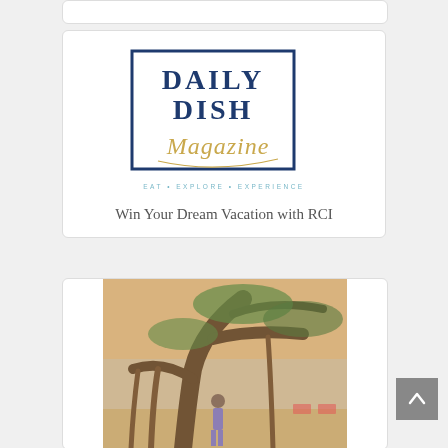[Figure (logo): Daily Dish Magazine logo — dark navy blue square border with 'DAILY DISH' in bold navy serif text and 'Magazine' in gold cursive script below, tagline 'EAT • EXPLORE • EXPERIENCE' in light blue spaced caps]
Win Your Dream Vacation with RCI
[Figure (photo): Person standing under large sprawling banyan tree on a beach, tropical setting with chairs visible in background, warm sunset light]